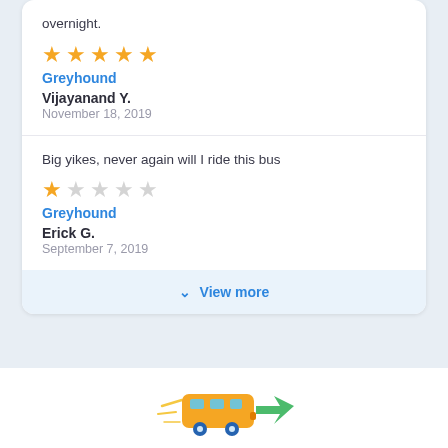overnight.
[Figure (illustration): 5 filled gold stars rating]
Greyhound
Vijayanand Y.
November 18, 2019
Big yikes, never again will I ride this bus
[Figure (illustration): 1 filled gold star and 4 empty stars rating]
Greyhound
Erick G.
September 7, 2019
View more
[Figure (illustration): Cartoon bus icon with speed lines and a green arrow pointing left]